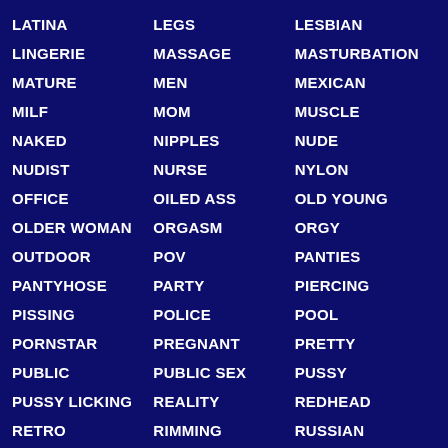LATINA
LEGS
LESBIAN
LINGERIE
MASSAGE
MASTURBATION
MATURE
MEN
MEXICAN
MILF
MOM
MUSCLE
NAKED
NIPPLES
NUDE
NUDIST
NURSE
NYLON
OFFICE
OILED ASS
OLD YOUNG
OLDER WOMAN
ORGASM
ORGY
OUTDOOR
POV
PANTIES
PANTYHOSE
PARTY
PIERCING
PISSING
POLICE
POOL
PORNSTAR
PREGNANT
PRETTY
PUBLIC
PUBLIC SEX
PUSSY
PUSSY LICKING
REALITY
REDHEAD
RETRO
RIMMING
RUSSIAN